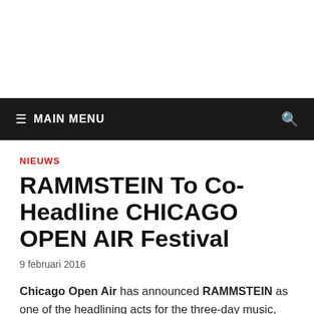≡ MAIN MENU
NIEUWS
RAMMSTEIN To Co-Headline CHICAGO OPEN AIR Festival
9 februari 2016
Chicago Open Air has announced RAMMSTEIN as one of the headlining acts for the three-day music, craft beer and Gourmet Man Food festival held July 15-17 at Toyota Park in Bridgeview, Illinois, just outside Chicago. This